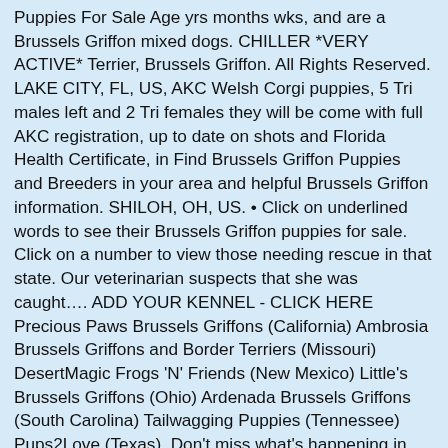Puppies For Sale Age yrs months wks, and are a Brussels Griffon mixed dogs. CHILLER *VERY ACTIVE* Terrier, Brussels Griffon. All Rights Reserved. LAKE CITY, FL, US, AKC Welsh Corgi puppies, 5 Tri males left and 2 Tri females they will be come with full AKC registration, up to date on shots and Florida Health Certificate, in Find Brussels Griffon Puppies and Breeders in your area and helpful Brussels Griffon information. SHILOH, OH, US. • Click on underlined words to see their Brussels Griffon puppies for sale. Click on a number to view those needing rescue in that state. Our veterinarian suspects that she was caught…. ADD YOUR KENNEL - CLICK HERE Precious Paws Brussels Griffons (California) Ambrosia Brussels Griffons and Border Terriers (Missouri) DesertMagic Frogs 'N' Friends (New Mexico) Little's Brussels Griffons (Ohio) Ardenada Brussels Griffons (South Carolina) Tailwagging Puppies (Tennessee) Pups2Love (Texas). Don't miss what's happening in your neighborhood. ADD YOUR KENNEL - CLICK HERE Precious Paws Brussels Griffons (California) Ambrosia Brussels Griffons and Border Terriers (Missouri) DesertMagic Frogs 'N' Friends (New Mexico) Little's Brussels Griffons (Ohio) Ardenada Brussels Griffons (South Carolina) Tailwagging Puppies (Tennessee) Pups2Love (Texas). Brussels Griffon puppies for sale and dogs for adoption. Waldorf, MD. Main color Rust W . HEMLOCK, MI, US. Category . GEORGETOWN, TX, US. information to make the right choice when buying a puppy. Adopt Boone - a German Wirehaired Pointer